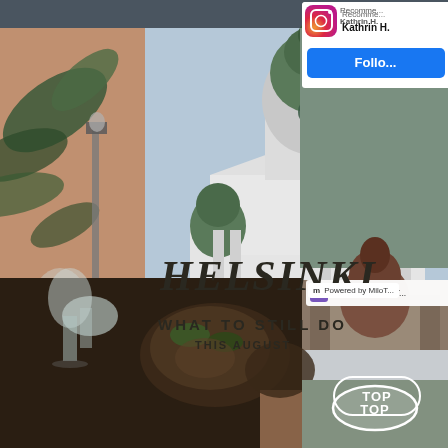[Figure (photo): Screenshot of a travel blog/website showing Helsinki content. Main image shows Helsinki Cathedral (white neoclassical building with green dome) with a street lamp and green leaves in foreground. Text overlay says HELSINKI WHAT TO STILL DO THIS AUGUST. Right sidebar shows Instagram recommendation for Kathrin H with Follow button and photo collage of Helsinki landmarks. Bottom shows food/dining photo with wine glasses and dishes. TOP navigation button visible.]
Recommended by
Kathrin H
Follow
HELSINKI
WHAT TO STILL DO
THIS AUGUST
Powered by MiloT
TOP